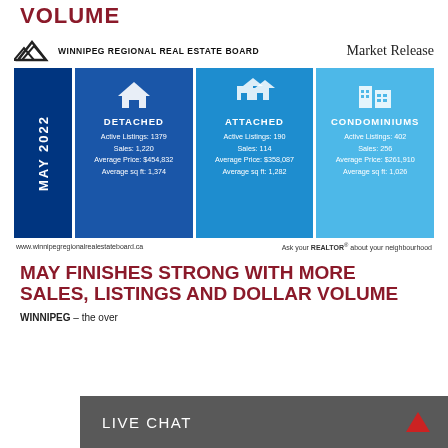VOLUME
[Figure (infographic): Winnipeg Regional Real Estate Board Market Release May 2022 infographic with Detached, Attached, and Condominiums stats]
MAY FINISHES STRONG WITH MORE SALES, LISTINGS AND DOLLAR VOLUME
WINNIPEG – the over
LIVE CHAT